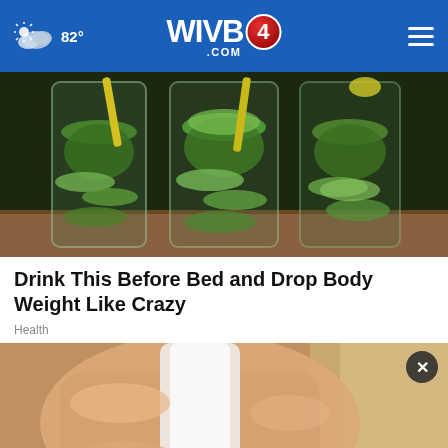82° WIVB4.COM
[Figure (photo): Three tall glasses filled with cucumber slices, mint leaves, and lemon/ginger sticks — a detox infused water drink]
Drink This Before Bed and Drop Body Weight Like Crazy
Health
[Figure (photo): A hand holding a white bottle, partially visible, with an ad overlay for Mustang Infotainment Upgrades from Infotainment.com with an Open button and a close (x) button]